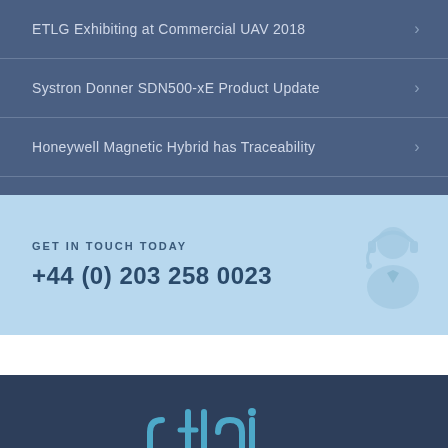ETLG Exhibiting at Commercial UAV 2018
Systron Donner SDN500-xE Product Update
Honeywell Magnetic Hybrid has Traceability
GET IN TOUCH TODAY
+44 (0) 203 258 0023
[Figure (illustration): Customer support agent icon (headset with person silhouette)]
[Figure (logo): ETLG logo with text EXPLOROCEAN INERTIALAEROSYSTEMS]